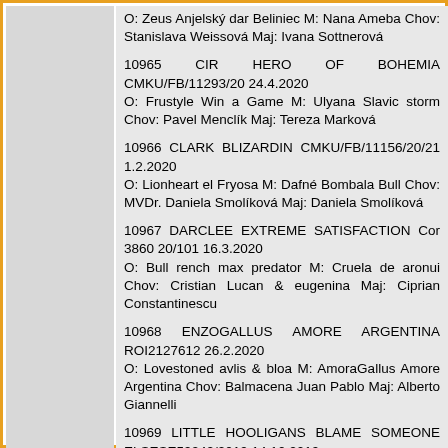O: Zeus Anjelský dar Beliniec M: Nana Ameba Chov: Stanislava Weissová Maj: Ivana Sottnerová
10965 CIR HERO OF BOHEMIA CMKU/FB/11293/20 24.4.2020
O: Frustyle Win a Game M: Ulyana Slavic storm Chov: Pavel Menclík Maj: Tereza Marková
10966 CLARK BLIZARDIN CMKU/FB/11156/20/21 1.2.2020
O: Lionheart el Fryosa M: Dafné Bombala Bull Chov: MVDr. Daniela Smolíková Maj: Daniela Smolíková
10967 DARCLEE EXTREME SATISFACTION Cor 3860 20/101 16.3.2020
O: Bull rench max predator M: Cruela de aronui Chov: Cristian Lucan & eugenina Maj: Ciprian Constantinescu
10968 ENZOGALLUS AMORE ARGENTINA ROI2127612 26.2.2020
O: Lovestoned avlis & bloa M: AmoraGallus Amore Argentina Chov: Balmacena Juan Pablo Maj: Alberto Giannelli
10969 LITTLE HOOLIGANS BLAME SOMEONE ELSESE59242/2019 14.10.2019
O: Nabucco de Bella Corso M: Tres Jolie at Angel Heart Chov: Joanna Nyroos Maj: Joanna Nyroos
10970 LOGAN LE CADEAU DE BONHEUR